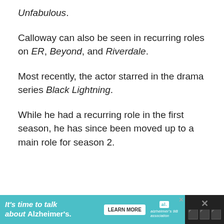Unfabulous.
Calloway can also be seen in recurring roles on ER, Beyond, and Riverdale.
Most recently, the actor starred in the drama series Black Lightning.
While he had a recurring role in the first season, he has since been moved up to a main role for season 2.
[Figure (other): Advertisement banner: 'It's time to talk about Alzheimer's.' with a Learn More button and Alzheimer's Association logo on a teal background.]